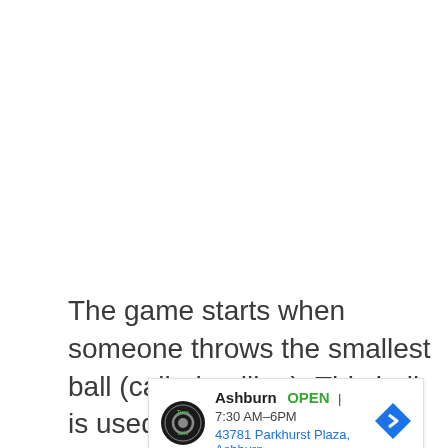The game starts when someone throws the smallest ball (called pallino). This ball is used as a marker. Then, the first player
[Figure (other): Advertisement for Tire Auto shop in Ashburn. Shows store logo, 'Ashburn OPEN 7:30AM-6PM', address '43781 Parkhurst Plaza, Ashburn', and a blue navigation arrow icon.]